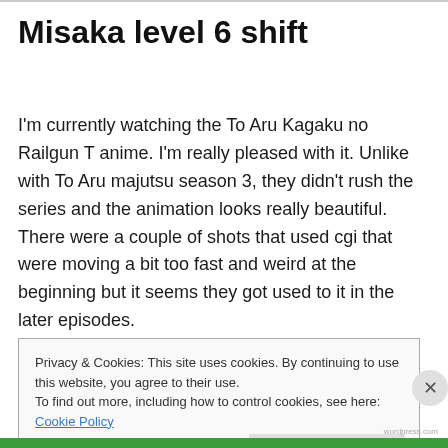Misaka level 6 shift
I'm currently watching the To Aru Kagaku no Railgun T anime. I'm really pleased with it. Unlike with To Aru majutsu season 3, they didn't rush the series and the animation looks really beautiful. There were a couple of shots that used cgi that were moving a bit too fast and weird at the beginning but it seems they got used to it in the later episodes.
Privacy & Cookies: This site uses cookies. By continuing to use this website, you agree to their use.
To find out more, including how to control cookies, see here: Cookie Policy